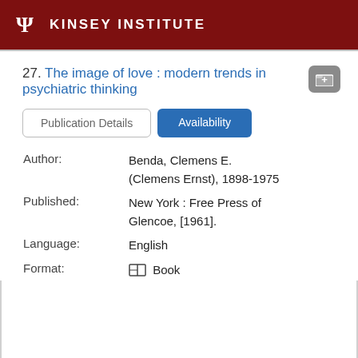KINSEY INSTITUTE
27. The image of love : modern trends in psychiatric thinking
Publication Details | Availability
Author: Benda, Clemens E. (Clemens Ernst), 1898-1975
Published: New York : Free Press of Glencoe, [1961].
Language: English
Format: Book